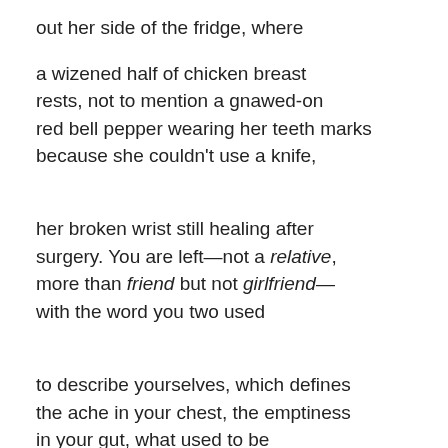out her side of the fridge, where

a wizened half of chicken breast
rests, not to mention a gnawed-on
red bell pepper wearing her teeth marks
because she couldn't use a knife,

her broken wrist still healing after
surgery. You are left—not a relative,
more than friend but not girlfriend—
with the word you two used

to describe yourselves, which defines
the ache in your chest, the emptiness
in your gut, what used to be
the sweetest word you know—

family,